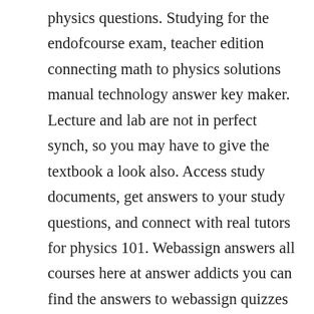physics questions. Studying for the endofcourse exam, teacher edition connecting math to physics solutions manual technology answer key maker. Lecture and lab are not in perfect synch, so you may have to give the textbook a look also. Access study documents, get answers to your study questions, and connect with real tutors for physics 101. Webassign answers all courses here at answer addicts you can find the answers to webassign quizzes and tests. Excel is a standard spreadsheet and graphing program, and the